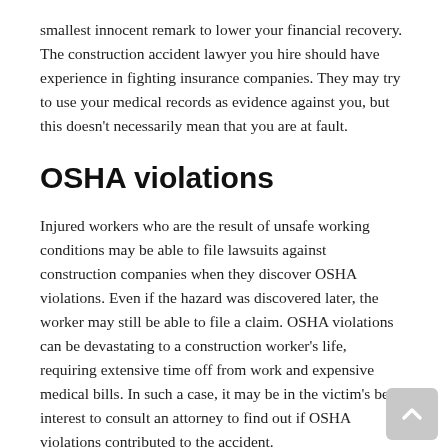smallest innocent remark to lower your financial recovery. The construction accident lawyer you hire should have experience in fighting insurance companies. They may try to use your medical records as evidence against you, but this doesn't necessarily mean that you are at fault.
OSHA violations
Injured workers who are the result of unsafe working conditions may be able to file lawsuits against construction companies when they discover OSHA violations. Even if the hazard was discovered later, the worker may still be able to file a claim. OSHA violations can be devastating to a construction worker's life, requiring extensive time off from work and expensive medical bills. In such a case, it may be in the victim's best interest to consult an attorney to find out if OSHA violations contributed to the accident.
In most cases, filing a claim for OSHA violations will result in a notification of the violation to the agency. This can prevent similar accidents and injuries in the future. It is also